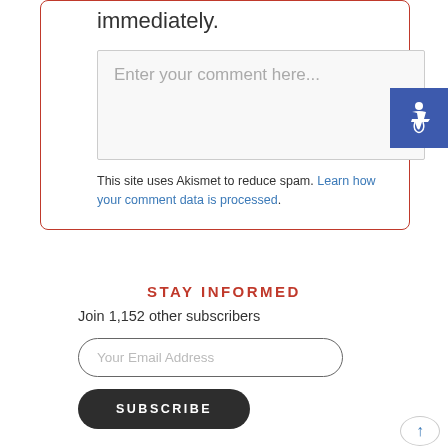immediately.
Enter your comment here...
This site uses Akismet to reduce spam. Learn how your comment data is processed.
[Figure (illustration): Accessibility icon — white wheelchair symbol on blue background]
STAY INFORMED
Join 1,152 other subscribers
Your Email Address
SUBSCRIBE